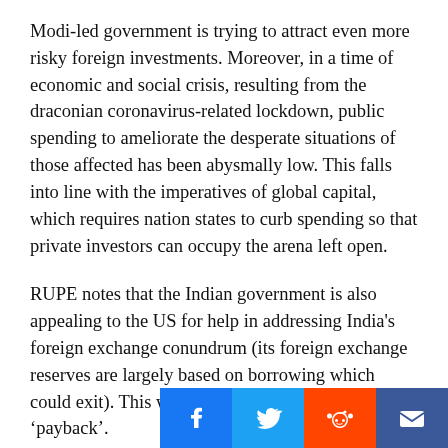Modi-led government is trying to attract even more risky foreign investments. Moreover, in a time of economic and social crisis, resulting from the draconian coronavirus-related lockdown, public spending to ameliorate the desperate situations of those affected has been abysmally low. This falls into line with the imperatives of global capital, which requires nation states to curb spending so that private investors can occupy the arena left open.
RUPE notes that the Indian government is also appealing to the US for help in addressing India's foreign exchange conundrum (its foreign exchange reserves are largely based on borrowing which could exit). This will require some kind of ‘payback’.
Such payback could come in the form of a future trade deal. India is currently involved in ongoing trade talks with the US. If this deal goes through and India capitulates to US demands, it could d[...]ta[...]r[...]
[Figure (other): Social sharing buttons bar at the bottom right: Facebook (blue), Twitter (light blue), Reddit (orange), Email (dark blue)]